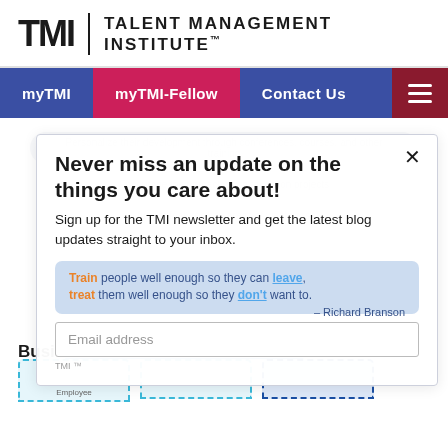[Figure (logo): TMI Talent Management Institute logo with bold block letters and full name]
myTMI | myTMI-Fellow | Contact Us
Personalize their development through conferences, courses, and other training
Never miss an update on the things you care about!
Sign up for the TMI newsletter and get the latest blog updates straight to your inbox.
Train people well enough so they can leave, treat them well enough so they don't want to. — Richard Branson
Email address
Businesses must retain their HiPos